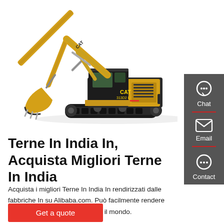[Figure (photo): CAT 313D2 L excavator / backhoe with yellow and black body, tracked undercarriage, shown in side profile on white background]
Terne In India In, Acquista Migliori Terne In India
Acquista i migliori Terne In India In rendirizzati dalle fabbriche In su Alibaba.com. Può facilmente rendere disponibili Terne In India in tutto il mondo.
Get a quote
Chat
Email
Contact